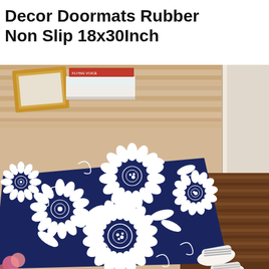Decor Doormats Rubber Non Slip 18x30Inch
[Figure (photo): Product photo of a navy blue and white floral doormat placed on a wooden floor near a door. The mat features large chrysanthemum/dahlia style flowers with intricate line art in white on a dark navy background. Behind the mat on the wooden floor are a wooden picture frame and stacked books. To the right of the mat are white striped slippers. Pink flowers are visible in the bottom-left corner.]